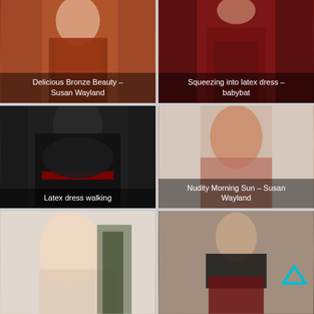[Figure (photo): Woman in bronze/red latex corset outfit]
Delicious Bronze Beauty – Susan Wayland
[Figure (photo): Woman in red latex dress, close-up lower body]
Squeezing into latex dress – babybat
[Figure (photo): Woman in black latex skirt with red trim, walking]
Latex dress walking
[Figure (photo): Woman with red hair, Nudity Morning Sun]
Nudity Morning Sun – Susan Wayland
[Figure (photo): Blonde woman with red lips and plant in background]
[Figure (photo): Woman in black latex top and dark red latex skirt, with cyan arrow icon]